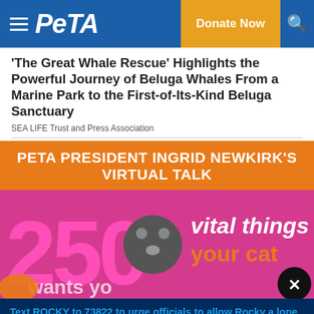PETA | Donate Now
'The Great Whale Rescue' Highlights the Powerful Journey of Beluga Whales From a Marine Park to the First-of-Its-Kind Beluga Sanctuary
SEA LIFE Trust and Press Association
[Figure (infographic): PETA orange banner ad: PETA PRESIDENT INGRID NEWKIRK'S VIRTUAL TALK]
[Figure (infographic): Ad showing '250 vital things your cat...' with cats on pink/magenta background]
Text ROCKY to 73822 to urge officials to allow Rocky a lone coyote, who is pacing in apparent distress in a tiny cage, to move to an accredited sanctuary.
Terms for automated texts/calls from PETA: http://peta.vg/txt. Text STOP to end, HELP for more info. Msg/data rates may apply. U.S. only.